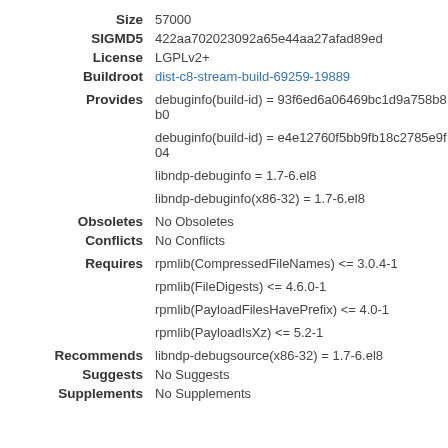Size: 57000
SIGMD5: 422aa702023092a65e44aa27afad89ed
License: LGPLv2+
Buildroot: dist-c8-stream-build-69259-19889
Provides: debuginfo(build-id) = 93f6ed6a06469bc1d9a758b8b0 / debuginfo(build-id) = e4e12760f5bb9fb18c2785e9f04 / libndp-debuginfo = 1.7-6.el8 / libndp-debuginfo(x86-32) = 1.7-6.el8
Obsoletes: No Obsoletes
Conflicts: No Conflicts
Requires: rpmlib(CompressedFileNames) <= 3.0.4-1 / rpmlib(FileDigests) <= 4.6.0-1 / rpmlib(PayloadFilesHavePrefix) <= 4.0-1 / rpmlib(PayloadIsXz) <= 5.2-1
Recommends: libndp-debugsource(x86-32) = 1.7-6.el8
Suggests: No Suggests
Supplements: No Supplements